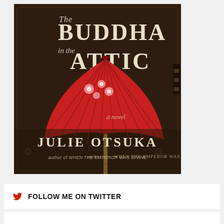[Figure (illustration): Book cover of 'The Buddha in the Attic' by Julie Otsuka. Dark brown leather suitcase background with a red Japanese paper parasol with floral decorations and a bamboo handle in the center. Title text 'The Buddha in the Attic' in white/cream serif font at top, 'a novel' in script below the parasol, 'JULIE OTSUKA' in large spaced serif font at bottom, and 'author of WHEN THE EMPEROR WAS DIVINE' in smaller text below the author name.]
FOLLOW ME ON TWITTER